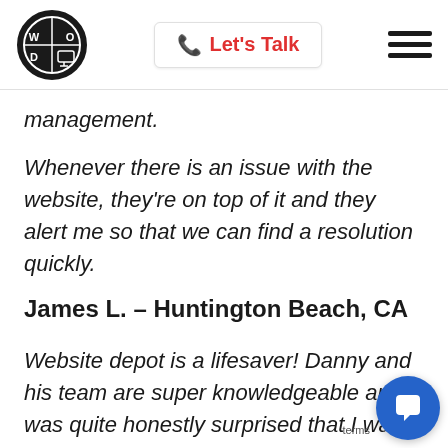[Figure (logo): Website depot logo circle with W, O, D letters]
Let's Talk
management.
Whenever there is an issue with the website, they're on top of it and they alert me so that we can find a resolution quickly.
James L. – Huntington Beach, CA
Website depot is a lifesaver! Danny and his team are super knowledgeable and I was quite honestly surprised that I was able to meet the CEO! I also quite impressed with their level of servi